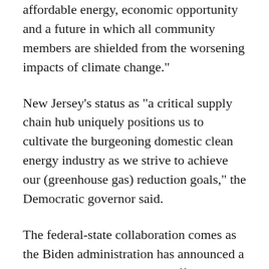affordable energy, economic opportunity and a future in which all community members are shielded from the worsening impacts of climate change."
New Jersey's status as "a critical supply chain hub uniquely positions us to cultivate the burgeoning domestic clean energy industry as we strive to achieve our (greenhouse gas) reduction goals," the Democratic governor said.
The federal-state collaboration comes as the Biden administration has announced a plan to conduct up to seven offshore wind auctions by 2025, including one held last month off North Carolina and earlier this year in a coastal area known as the New York Bight. Other sales are expected in the Gulf of Maine, the central Atlantic and the Gulf of Mexico, as well as offshore in